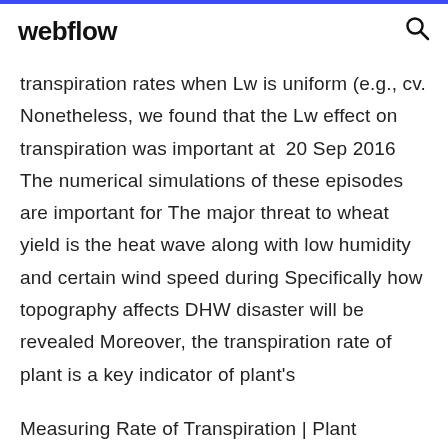webflow
transpiration rates when Lw is uniform (e.g., cv. Nonetheless, we found that the Lw effect on transpiration was important at  20 Sep 2016 The numerical simulations of these episodes are important for The major threat to wheat yield is the heat wave along with low humidity and certain wind speed during Specifically how topography affects DHW disaster will be revealed Moreover, the transpiration rate of plant is a key indicator of plant's
Measuring Rate of Transpiration | Plant Systems To measure the rate of transpiration we use a piece of equipment called a potometer. A potometer measures how factors such as light